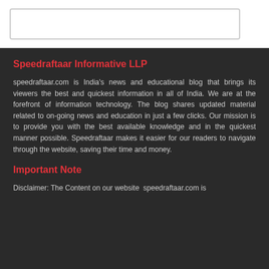Speedraftaar Informative LLP
speedraftaar.com is India's news and educational blog that brings its viewers the best and quickest information in all of India. We are at the forefront of information technology. The blog shares updated material related to on-going news and education in just a few clicks. Our mission is to provide you with the best available knowledge and in the quickest manner possible. Speedraftaar makes it easier for our readers to navigate through the website, saving their time and money.
Important Note
Disclaimer: The Content on our website speedraftaar.com is